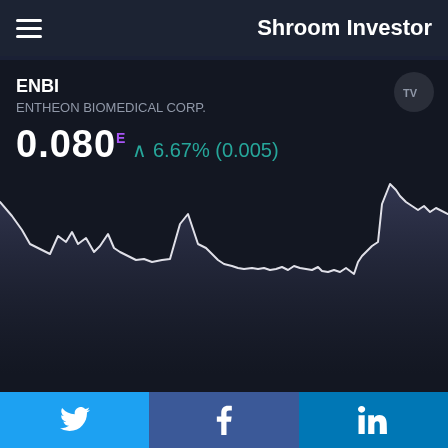Shroom Investor
ENBI
ENTHEON BIOMEDICAL CORP.
0.080 E ^ 6.67% (0.005)
[Figure (area-chart): Area/line chart showing ENBI stock price from approximately June through August 18, showing a decline from a peak near start of period, with a spike around early July, low flat period mid-July through August, then a sharp rise to a new high near August 18.]
Twitter | Facebook | LinkedIn